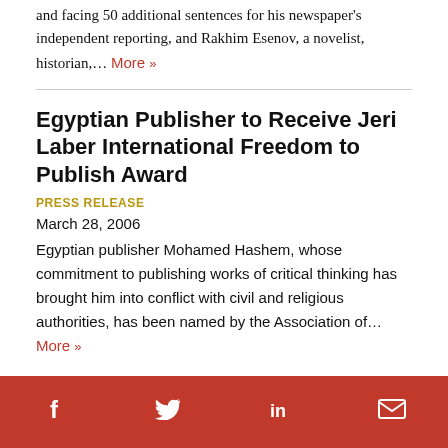and facing 50 additional sentences for his newspaper's independent reporting, and Rakhim Esenov, a novelist, historian,... More »
Egyptian Publisher to Receive Jeri Laber International Freedom to Publish Award
PRESS RELEASE
March 28, 2006
Egyptian publisher Mohamed Hashem, whose commitment to publishing works of critical thinking has brought him into conflict with civil and religious authorities, has been named by the Association of... More »
Social share icons: Facebook, Twitter, LinkedIn, Email